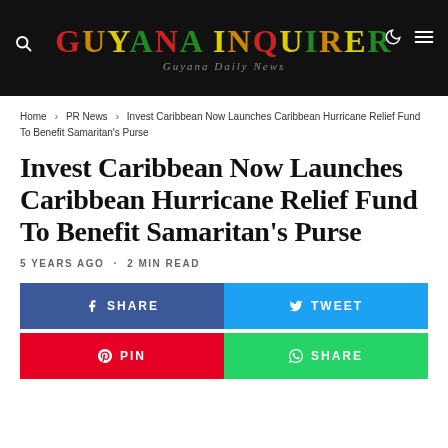GUYANA INQUIRER — Guyana Daily News
Home > PR News > Invest Caribbean Now Launches Caribbean Hurricane Relief Fund To Benefit Samaritan's Purse
Invest Caribbean Now Launches Caribbean Hurricane Relief Fund To Benefit Samaritan's Purse
5 YEARS AGO · 2 MIN READ
[Figure (infographic): Social sharing buttons: SHARE (Facebook, blue), TWEET (Twitter, cyan), PIN (Pinterest, red), SHARE (WhatsApp, green)]